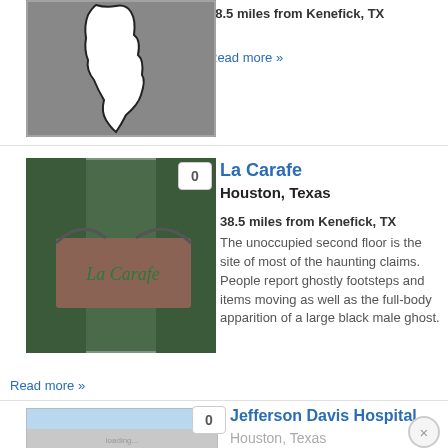38.5 miles from Kenefick, TX
Read more »
[Figure (photo): La Carafe wooden sign with ornate green metalwork above, with badge showing 0]
La Carafe
Houston, Texas
38.5 miles from Kenefick, TX
The unoccupied second floor is the site of most of the haunting claims. People report ghostly footsteps and items moving as well as the full-body apparition of a large black male ghost.
Read more »
[Figure (photo): Jefferson Davis Hospital partial image showing building exterior, with badge showing 0]
Jefferson Davis Hospital
Houston, Texas
38.5 miles from Kenefick, TX